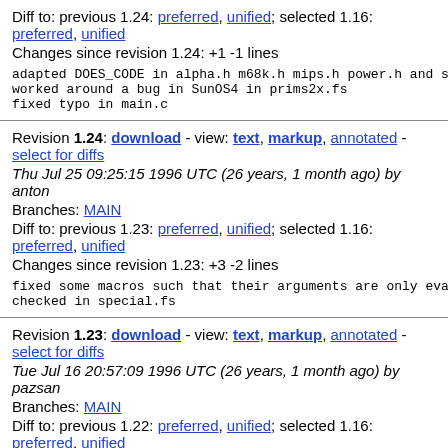Diff to: previous 1.24: preferred, unified; selected 1.16: preferred, unified
Changes since revision 1.24: +1 -1 lines
adapted DOES_CODE in alpha.h m68k.h mips.h power.h and sp
worked around a bug in SunOS4 in prims2x.fs
fixed typo in main.c
Revision 1.24: download - view: text, markup, annotated - select for diffs
Thu Jul 25 09:25:15 1996 UTC (26 years, 1 month ago) by anton
Branches: MAIN
Diff to: previous 1.23: preferred, unified; selected 1.16: preferred, unified
Changes since revision 1.23: +3 -2 lines
fixed some macros such that their arguments are only eva
checked in special.fs
Revision 1.23: download - view: text, markup, annotated - select for diffs
Tue Jul 16 20:57:09 1996 UTC (26 years, 1 month ago) by pazsan
Branches: MAIN
Diff to: previous 1.22: preferred, unified; selected 1.16: preferred, unified
Changes since revision 1.22: +2 -2 lines